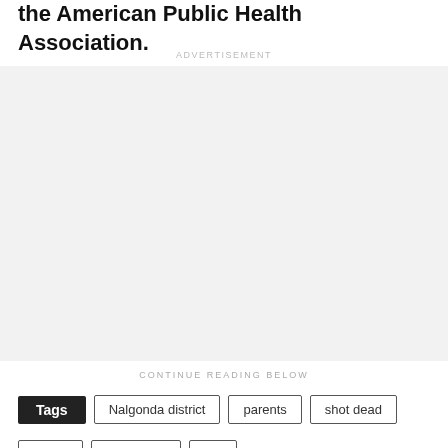the American Public Health Association.
ADVERTISEMENT
[Figure (other): Advertisement placeholder box (light grey background)]
CONTINUE READING BELOW
Tags  Nalgonda district  parents  shot dead
techie  Telangana  US